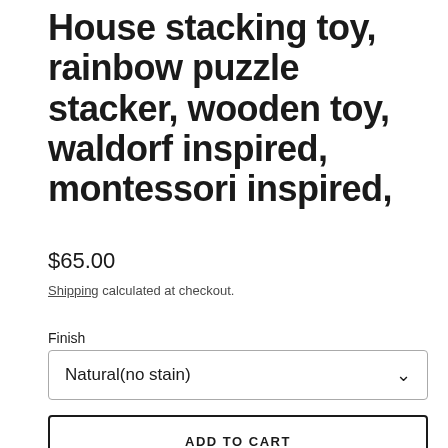House stacking toy, rainbow puzzle stacker, wooden toy, waldorf inspired, montessori inspired,
$65.00
Shipping calculated at checkout.
Finish
Natural(no stain)
ADD TO CART